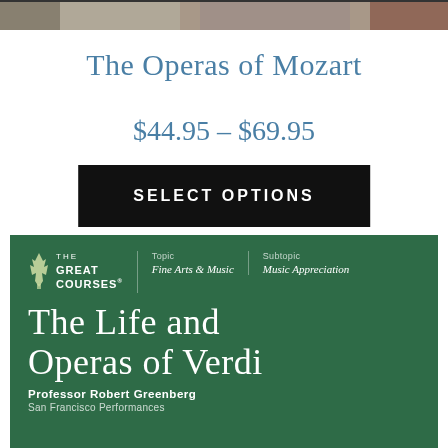[Figure (photo): Top banner image showing a performance or opera scene, cropped at top]
The Operas of Mozart
$44.95 – $69.95
SELECT OPTIONS
[Figure (illustration): The Great Courses green product card for 'The Life and Operas of Verdi' by Professor Robert Greenberg, San Francisco Performances. Topic: Fine Arts & Music, Subtopic: Music Appreciation.]